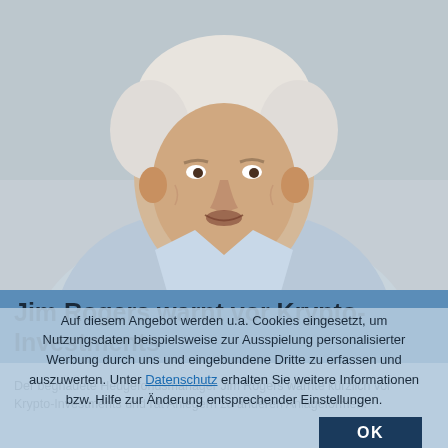[Figure (photo): Elderly man with white hair wearing a light blue suit and blue polka-dot bow tie, speaking at an event, photographed from the chest up against a light gray background. This appears to be Jim Rogers, a hedge fund manager.]
Jim Rogers warnt vor Krypto-Investments
Der begnadete Hedgefondsmanager Jim Rogers warnte kürzlich vor Krypto-Investments und rät Anlegern zu anderen Anlageformen.
Auf diesem Angebot werden u.a. Cookies eingesetzt, um Nutzungsdaten beispielsweise zur Ausspielung personalisierter Werbung durch uns und eingebundene Dritte zu erfassen und auszuwerten. Unter Datenschutz erhalten Sie weitere Informationen bzw. Hilfe zur Änderung entsprechender Einstellungen.
OK